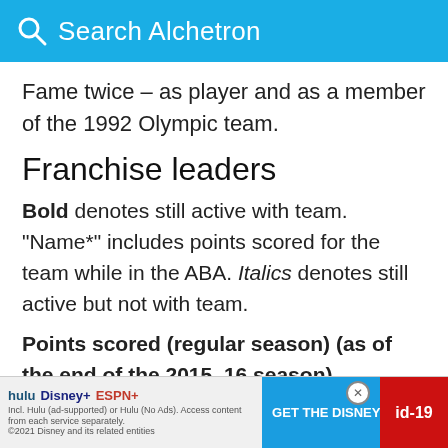Search Alchetron
Fame twice – as player and as a member of the 1992 Olympic team.
Franchise leaders
Bold denotes still active with team. "Name*" includes points scored for the team while in the ABA. Italics denotes still active but not with team.
Points scored (regular season) (as of the end of the 2015–16 season)
Other Statistics (regular season) (as of the end of the
[Figure (screenshot): Disney Bundle advertisement banner with Hulu, Disney+, ESPN+ logos and a GET THE DISNEY BUNDLE button]